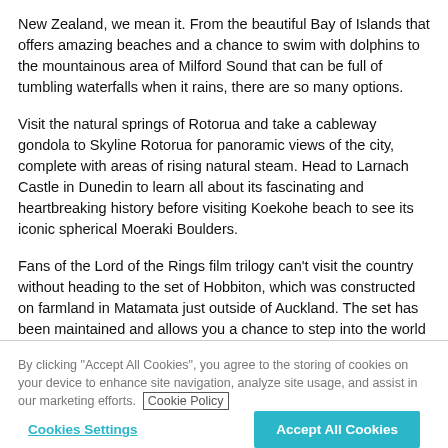New Zealand, we mean it. From the beautiful Bay of Islands that offers amazing beaches and a chance to swim with dolphins to the mountainous area of Milford Sound that can be full of tumbling waterfalls when it rains, there are so many options.
Visit the natural springs of Rotorua and take a cableway gondola to Skyline Rotorua for panoramic views of the city, complete with areas of rising natural steam. Head to Larnach Castle in Dunedin to learn all about its fascinating and heartbreaking history before visiting Koekohe beach to see its iconic spherical Moeraki Boulders.
Fans of the Lord of the Rings film trilogy can't visit the country without heading to the set of Hobbiton, which was constructed on farmland in Matamata just outside of Auckland. The set has been maintained and allows you a chance to step into the world of Tolkien.
By clicking "Accept All Cookies", you agree to the storing of cookies on your device to enhance site navigation, analyze site usage, and assist in our marketing efforts. Cookie Policy
Cookies Settings
Accept All Cookies